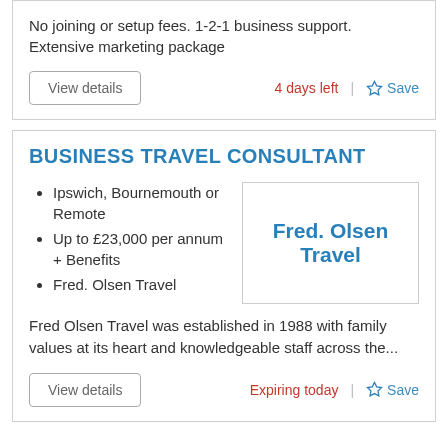No joining or setup fees. 1-2-1 business support. Extensive marketing package
View details | 4 days left | Save
BUSINESS TRAVEL CONSULTANT
Ipswich, Bournemouth or Remote
Up to £23,000 per annum + Benefits
Fred. Olsen Travel
[Figure (logo): Fred. Olsen Travel logo box]
Fred Olsen Travel was established in 1988 with family values at its heart and knowledgeable staff across the...
View details | Expiring today | Save